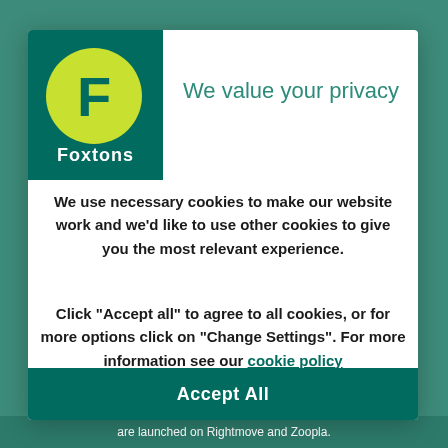[Figure (logo): Foxtons real estate logo: dark teal rectangle with yellow-green circle containing white F letter and Foxtons text below]
We value your privacy
We use necessary cookies to make our website work and we'd like to use other cookies to give you the most relevant experience.
Click “Accept all” to agree to all cookies, or for more options click on “Change Settings”. For more information see our cookie policy
Accept All
are launched on Rightmove and Zoopla.